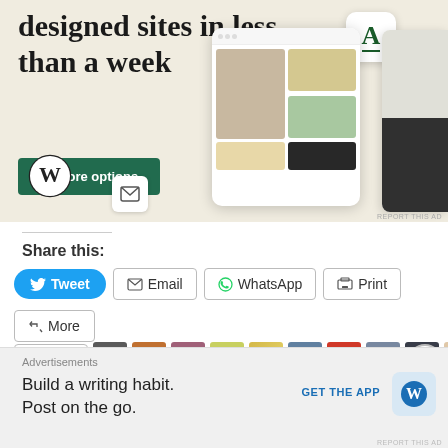[Figure (screenshot): WordPress.com advertisement banner showing 'designed sites in less than a week' with Explore options button, WordPress logo, phone mockups of website designs, and an app icon showing 'A']
Share this:
Tweet  Email  WhatsApp  Print  More
[Figure (screenshot): Like button and row of user avatar thumbnails, followed by a close (X) button]
Advertisements
Build a writing habit. Post on the go.
GET THE APP